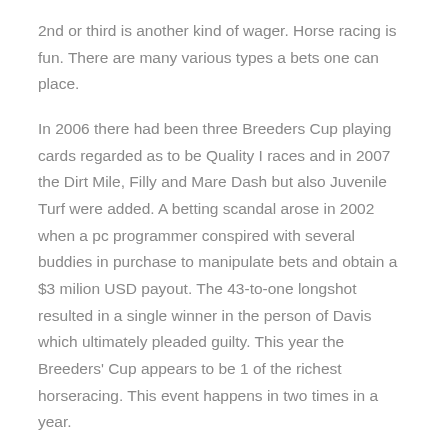2nd or third is another kind of wager. Horse racing is fun. There are many various types a bets one can place.
In 2006 there had been three Breeders Cup playing cards regarded as to be Quality I races and in 2007 the Dirt Mile, Filly and Mare Dash but also Juvenile Turf were added. A betting scandal arose in 2002 when a pc programmer conspired with several buddies in purchase to manipulate bets and obtain a $3 milion USD payout. The 43-to-one longshot resulted in a single winner in the person of Davis which ultimately pleaded guilty. This year the Breeders' Cup appears to be 1 of the richest horseracing. This event happens in two times in a year.